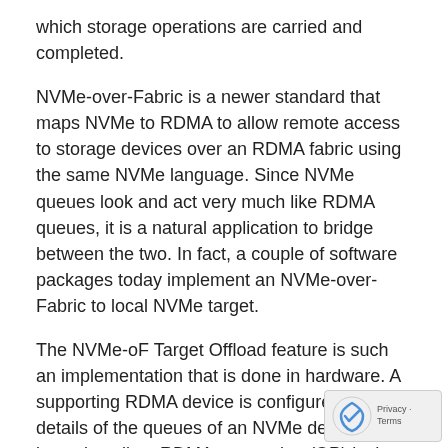which storage operations are carried and completed.
NVMe-over-Fabric is a newer standard that maps NVMe to RDMA to allow remote access to storage devices over an RDMA fabric using the same NVMe language. Since NVMe queues look and act very much like RDMA queues, it is a natural application to bridge between the two. In fact, a couple of software packages today implement an NVMe-over-Fabric to local NVMe target.
The NVMe-oF Target Offload feature is such an implementation that is done in hardware. A supporting RDMA device is configured with the details of the queues of an NVMe device. An incoming client RDMA connection (QP) is then bound to those NVMe queues. From that point on, every IO request arriving over the network from the client is submitted to the respective NVMe queue without any software intervention using PCI peer-to-peer acc... This session will describe how the configuration and operation of such feature should be done using verbs.